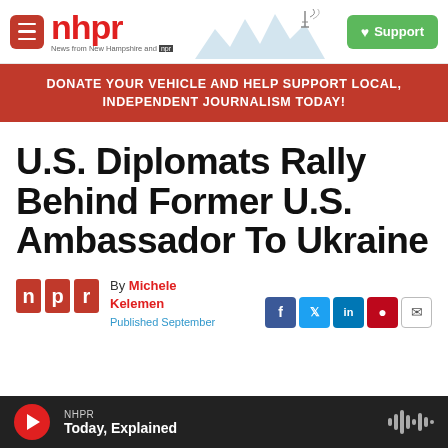nhpr — News from New Hampshire and NPR | Support
DONATE YOUR VEHICLE AND HELP SUPPORT LOCAL, INDEPENDENT JOURNALISM TODAY!
U.S. Diplomats Rally Behind Former U.S. Ambassador To Ukraine
By Michele Kelemen
Published September
NHPR · Today, Explained